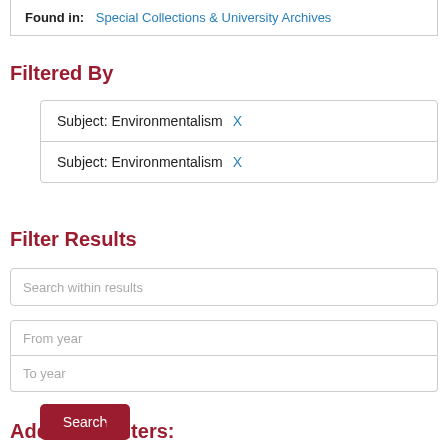Found in: Special Collections & University Archives
Filtered By
Subject: Environmentalism X
Subject: Environmentalism X
Filter Results
Search within results
From year
To year
Search
Additional filters: